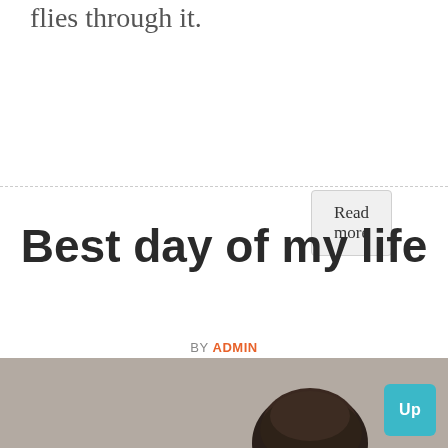flies through it.
Read more
Best day of my life
BY ADMIN
[Figure (photo): Bottom portion of page showing a person's head/hair partially visible against a gray/taupe background, with a teal 'Up' button in the bottom right corner.]